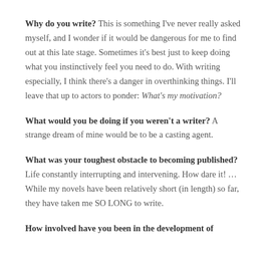Why do you write? This is something I've never really asked myself, and I wonder if it would be dangerous for me to find out at this late stage. Sometimes it's best just to keep doing what you instinctively feel you need to do. With writing especially, I think there's a danger in overthinking things. I'll leave that up to actors to ponder: What's my motivation?
What would you be doing if you weren't a writer? A strange dream of mine would be to be a casting agent.
What was your toughest obstacle to becoming published? Life constantly interrupting and intervening. How dare it! … While my novels have been relatively short (in length) so far, they have taken me SO LONG to write.
How involved have you been in the development of